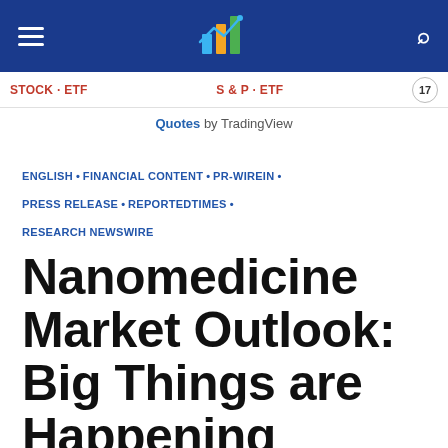Navigation bar with hamburger menu, logo, and search icon
Quotes by TradingView
ENGLISH • FINANCIAL CONTENT • PR-WIREIN • PRESS RELEASE • REPORTEDTIMES • RESEARCH NEWSWIRE
Nanomedicine Market Outlook: Big Things are Happening
May 16, 2022  4 Min Read